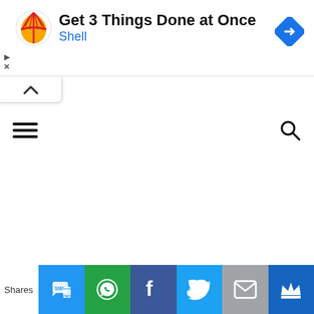[Figure (screenshot): Shell advertisement banner: Shell logo on left, title 'Get 3 Things Done at Once', brand name 'Shell' in blue, Google navigation icon on right. Small play and close icons on far left.]
[Figure (screenshot): Collapse/accordion tab with upward chevron arrow, white background with border.]
[Figure (screenshot): Navigation bar with hamburger menu icon (3 horizontal lines) on the left and search magnifying glass icon on the right.]
Shares
[Figure (screenshot): Share bar with social sharing buttons: SMS (blue), WhatsApp (green), Facebook (dark blue), Twitter (light blue), Email (grey), Other/crown (dark blue).]